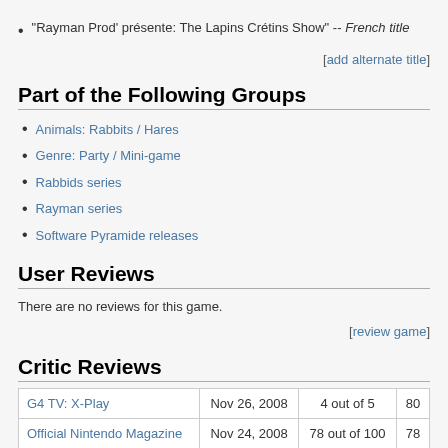"Rayman Prod' présente: The Lapins Crétins Show" -- French title
[add alternate title]
Part of the Following Groups
Animals: Rabbits / Hares
Genre: Party / Mini-game
Rabbids series
Rayman series
Software Pyramide releases
User Reviews
There are no reviews for this game.
[review game]
Critic Reviews
|  | Date | Score | Pts |
| --- | --- | --- | --- |
| G4 TV: X-Play | Nov 26, 2008 | 4 out of 5 | 80 |
| Official Nintendo Magazine | Nov 24, 2008 | 78 out of 100 | 78 |